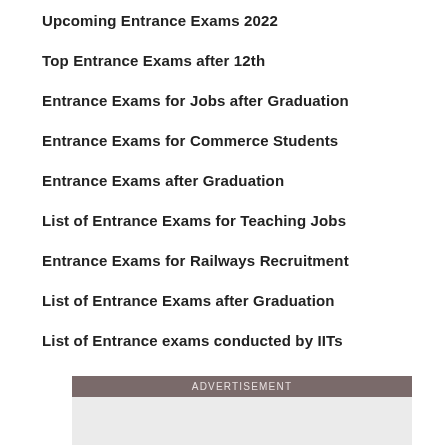Upcoming Entrance Exams 2022
Top Entrance Exams after 12th
Entrance Exams for Jobs after Graduation
Entrance Exams for Commerce Students
Entrance Exams after Graduation
List of Entrance Exams for Teaching Jobs
Entrance Exams for Railways Recruitment
List of Entrance Exams after Graduation
List of Entrance exams conducted by IITs
[Figure (other): Advertisement banner placeholder with dark header labeled ADVERTISEMENT and light gray body]